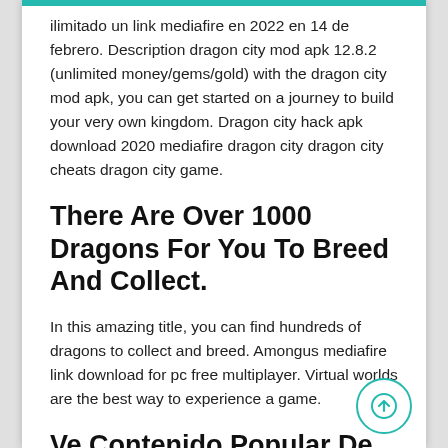ilimitado un link mediafire en 2022 en 14 de febrero. Description dragon city mod apk 12.8.2 (unlimited money/gems/gold) with the dragon city mod apk, you can get started on a journey to build your very own kingdom. Dragon city hack apk download 2020 mediafire dragon city dragon city cheats dragon city game.
There Are Over 1000 Dragons For You To Breed And Collect.
In this amazing title, you can find hundreds of dragons to collect and breed. Amongus mediafire link download for pc free multiplayer. Virtual worlds are the best way to experience a game.
Ve Contenido Popular De Los Siguientes Autores: